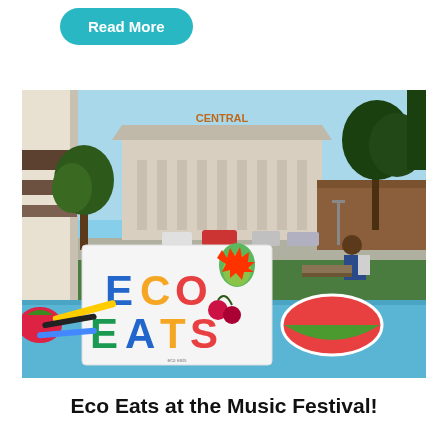Read More
[Figure (photo): Outdoor photo at a park/plaza event. In the foreground is a table with a blue tablecloth and a white box with colorful 'ECO EATS' lettering and fruit decorations. In the background is a large classical building with 'CENTRAL' text on top, trees, parked cars, and people sitting on benches under a clear blue sky.]
Eco Eats at the Music Festival!